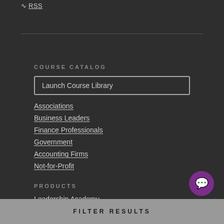RSS
COURSE CATALOG
Launch Course Library
Associations
Business Leaders
Finance Professionals
Government
Accounting Firms
Not-for-Profit
PRODUCTS
Leadership Academy
FILTER RESULTS